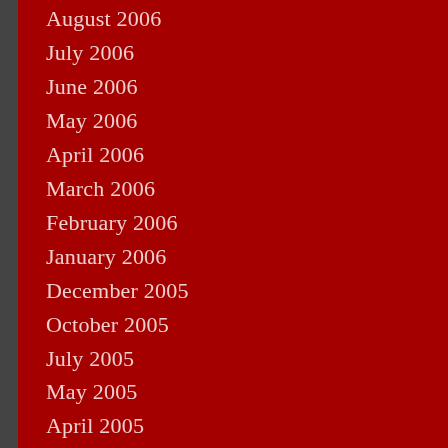August 2006
July 2006
June 2006
May 2006
April 2006
March 2006
February 2006
January 2006
December 2005
October 2005
July 2005
May 2005
April 2005
March 2005